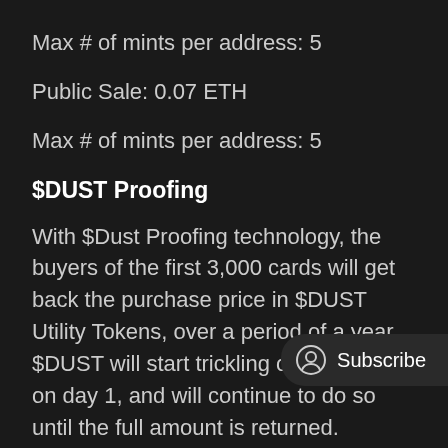Max # of mints per address: 5
Public Sale: 0.07 ETH
Max # of mints per address: 5
$DUST Proofing
With $Dust Proofing technology, the buyers of the first 3,000 cards will get back the purchase price in $DUST Utility Tokens, over a period of a year. $DUST will start trickling on your card on day 1, and will continue to do so until the full amount is returned.
(The amount is calculated and set on the day of the purchase, based on exchange rate and will not change.)